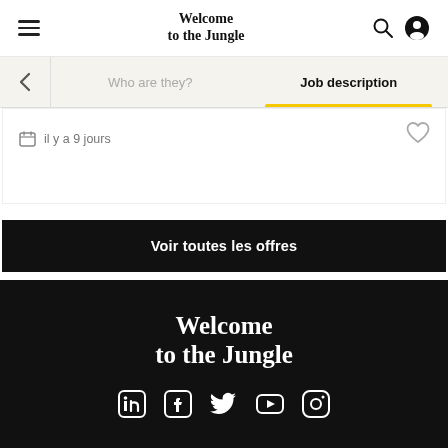Welcome to the Jungle
Who are they?  |  Job description
il y a 9 jours
Voir toutes les offres
[Figure (logo): Welcome to the Jungle logo in white on black background]
[Figure (other): Social media icons: LinkedIn, Facebook, Twitter, YouTube, Instagram]